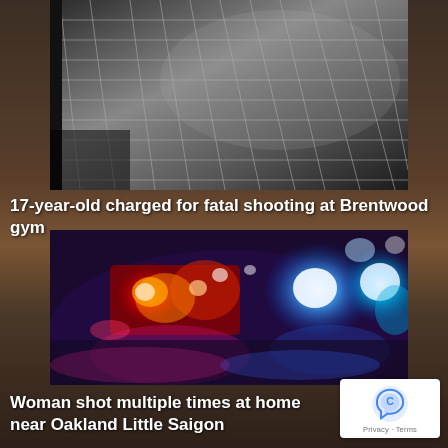[Figure (photo): Black and white photo of what appears to be a metal grid or netting structure, possibly the ceiling of a gym or a prison/security fence, viewed from below at an angle.]
17-year-old charged for fatal shooting at Brentwood gym
[Figure (photo): Blurred photo of police car emergency lights showing red, orange, and blue flashing lights at night, commonly used as a generic crime/incident illustration.]
Woman shot multiple times at home near Oakland Little Saigon
[Figure (logo): Google reCAPTCHA badge in bottom-right corner showing the reCAPTCHA icon and 'Privacy - Terms' text.]